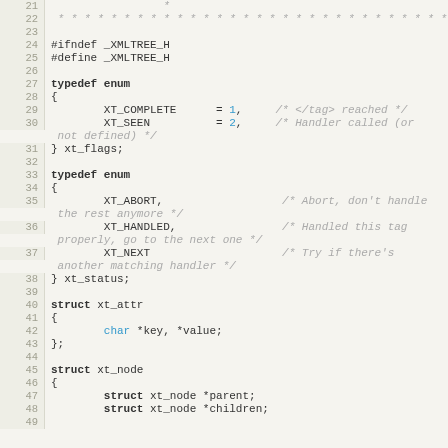[Figure (screenshot): Source code listing of a C header file (xmltree.h) showing typedef enums and struct definitions for an XML tree parser, with line numbers 21-49 visible.]